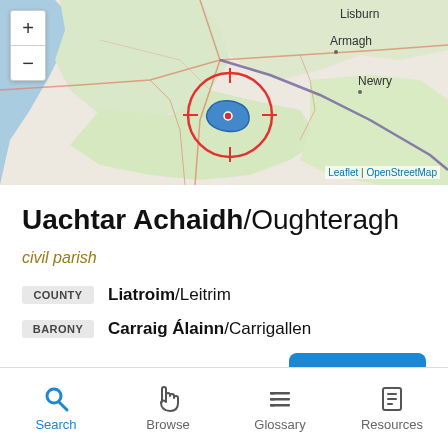[Figure (map): OpenStreetMap interactive map showing Ireland/Northern Ireland region with Armagh, Lisburn, Newry visible. A red circle target marker highlights a blue lake/lough shape in the center of the map. Zoom +/- controls in upper left.]
Uachtar Achaidh/Oughteragh
civil parish
| Type | Value |
| --- | --- |
| COUNTY | Liatroim/Leitrim |
| BARONY | Carraig Álainn/Carrigallen |
More
Search  Browse  Glossary  Resources